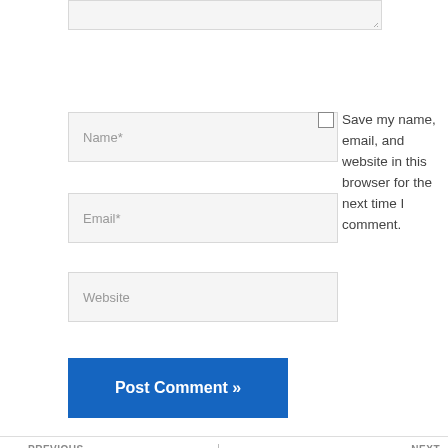[Figure (screenshot): Top of textarea input field (cropped), with resize handle in bottom-right corner]
Name*
Save my name, email, and website in this browser for the next time I comment.
Email*
Website
Post Comment »
PREVIOUS
Top Ten Tips For Business Success
NEXT
Top Ten Tips For Business Success
Best Weight Loss Food List-Lose Weight Doing